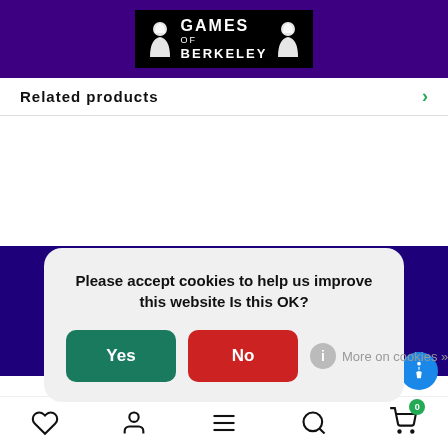Games of Berkeley
Related products
Newsletter
Get the latest updates, news and product offers via email
Please accept cookies to help us improve this website Is this OK?
Yes
No
More on cookies »
Social icons: Facebook, Twitter, Instagram, YouTube